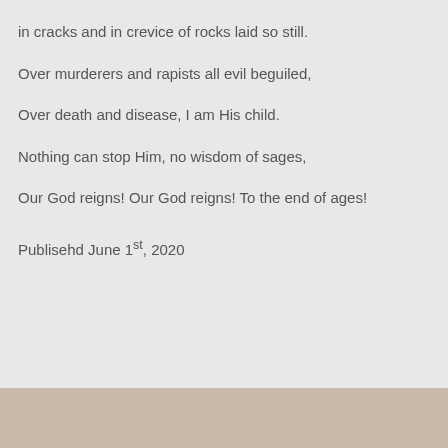in cracks and in crevice of rocks laid so still.
Over murderers and rapists all evil beguiled,
Over death and disease, I am His child.
Nothing can stop Him, no wisdom of sages,
Our God reigns! Our God reigns!  To the end of ages!
Publisehd June 1st, 2020